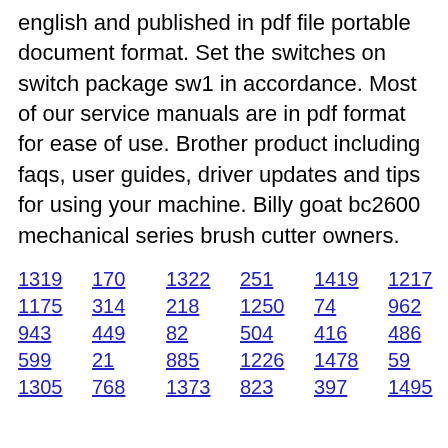english and published in pdf file portable document format. Set the switches on switch package sw1 in accordance. Most of our service manuals are in pdf format for ease of use. Brother product including faqs, user guides, driver updates and tips for using your machine. Billy goat bc2600 mechanical series brush cutter owners.
1319 170 1322 251 1419 1217 1175 314 218 1250 74 962 943 449 82 504 416 486 447 599 21 885 1226 1478 59 502 1305 768 1373 823 397 1495